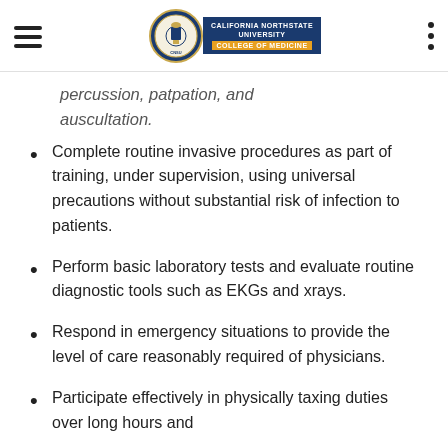California Northstate University College of Medicine
percussion, patpation, and auscultation.
Complete routine invasive procedures as part of training, under supervision, using universal precautions without substantial risk of infection to patients.
Perform basic laboratory tests and evaluate routine diagnostic tools such as EKGs and xrays.
Respond in emergency situations to provide the level of care reasonably required of physicians.
Participate effectively in physically taxing duties over long hours and